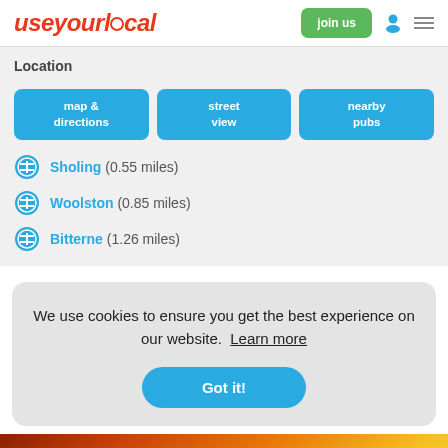useyourlocal | join us
Location
map & directions
street view
nearby pubs
Sholing (0.55 miles)
Woolston (0.85 miles)
Bitterne (1.26 miles)
We use cookies to ensure you get the best experience on our website. Learn more
Got it!
[Figure (photo): Bottom strip showing drinks/bar photo]